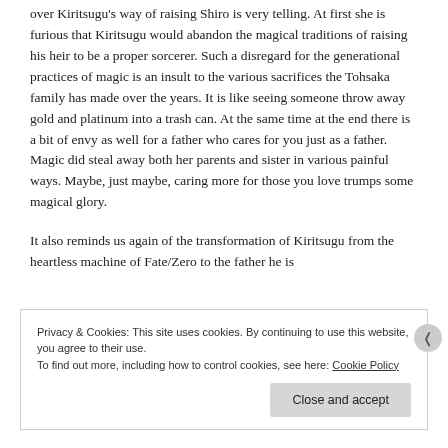over Kiritsugu's way of raising Shiro is very telling. At first she is furious that Kiritsugu would abandon the magical traditions of raising his heir to be a proper sorcerer. Such a disregard for the generational practices of magic is an insult to the various sacrifices the Tohsaka family has made over the years. It is like seeing someone throw away gold and platinum into a trash can. At the same time at the end there is a bit of envy as well for a father who cares for you just as a father. Magic did steal away both her parents and sister in various painful ways. Maybe, just maybe, caring more for those you love trumps some magical glory.
It also reminds us again of the transformation of Kiritsugu from the heartless machine of Fate/Zero to the father he is
Privacy & Cookies: This site uses cookies. By continuing to use this website, you agree to their use. To find out more, including how to control cookies, see here: Cookie Policy